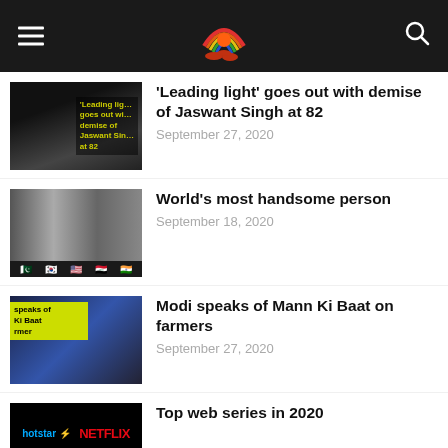News website header with logo, hamburger menu, and search icon
[Figure (photo): Thumbnail image of Jaswant Singh with yellow text overlay reading 'Leading light goes out with demise of Jaswant Singh at 82']
'Leading light' goes out with demise of Jaswant Singh at 82
September 27, 2020
[Figure (photo): Collage of handsome men from different countries with national flags at the bottom]
World's most handsome person
September 18, 2020
[Figure (photo): Modi speaking at a microphone with yellow text overlay 'speaks of Ki Baat rmer']
Modi speaks of Mann Ki Baat on farmers
September 27, 2020
[Figure (photo): Hotstar and Netflix logos on black background]
Top web series in 2020